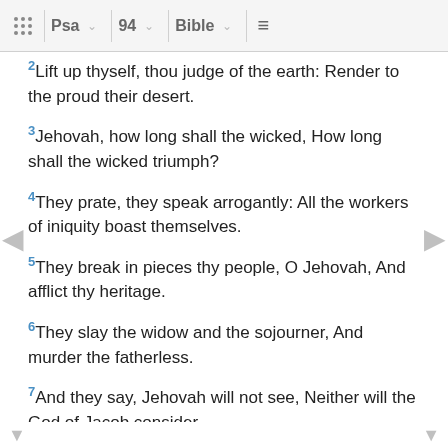⠿  Psa  ∨  94  ∨  Bible  ∨  ≡
2 Lift up thyself, thou judge of the earth: Render to the proud their desert.
3 Jehovah, how long shall the wicked, How long shall the wicked triumph?
4 They prate, they speak arrogantly: All the workers of iniquity boast themselves.
5 They break in pieces thy people, O Jehovah, And afflict thy heritage.
6 They slay the widow and the sojourner, And murder the fatherless.
7 And they say, Jehovah will not see, Neither will the God of Jacob consider.